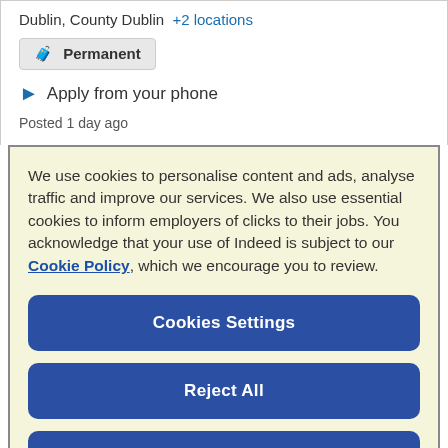Dublin, County Dublin +2 locations
Permanent
Apply from your phone
Posted 1 day ago
We use cookies to personalise content and ads, analyse traffic and improve our services. We also use essential cookies to inform employers of clicks to their jobs. You acknowledge that your use of Indeed is subject to our Cookie Policy, which we encourage you to review.
Cookies Settings
Reject All
Accept All Cookies